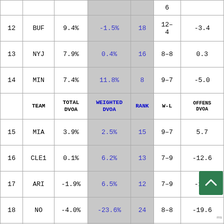|  | TEAM | TOTAL DVOA | WEIGHTED DVOA | RANK | W-L | OFFENSE DVOA |
| --- | --- | --- | --- | --- | --- | --- |
|  |  |  |  |  | 6 |  |
| 12 | BUF | 9.4% | -1.5% | 18 | 12-4 | -3.4 |
| 13 | NYJ | 7.9% | 0.4% | 16 | 8-8 | 0.3 |
| 14 | MIN | 7.4% | 11.8% | 8 | 9-7 | -5.0 |
| HEADER | TEAM | TOTAL DVOA | WEIGHTED DVOA | RANK | W-L | OFFENSE DVOA |
| 15 | MIA | 3.9% | 2.5% | 15 | 9-7 | 5.7 |
| 16 | CLE1 | 0.1% | 6.2% | 13 | 7-9 | -12.6 |
| 17 | ARI | -1.9% | 6.5% | 12 | 7-9 | -1.5 |
| 18 | NO | -4.0% | -23.6% | 24 | 8-8 | -19.6 |
| 19 | DET | -6.1% | -1.4% | 17 | 10-6 | -16.7 |
| 20 | CHI | -7.0% | -13.7% | 22 | 7-9 | 3 |
| 21 | SEA | -7.4% | -11.2% | 20 | 6-10 | -13.0 |
| 22 | ATL | -13.5% | -3.4% | 19 | 6-10 | -12.8 |